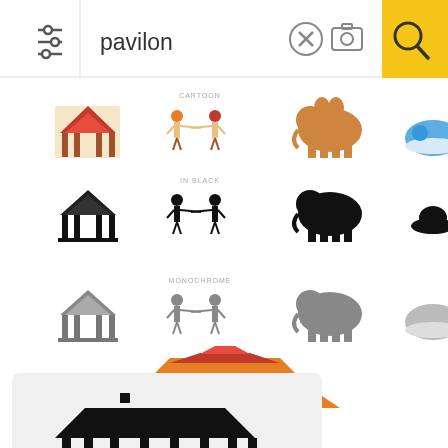[Figure (screenshot): Search bar with filter icon, text input showing 'pavilon', clear button, camera button, and yellow search button]
[Figure (screenshot): Image search results grid for 'pavilon' showing cartoon, black, and monochrome style rows with pavilion, people, elephant, and dome icons, followed by a large orange Chinese pavilion illustration and a black silhouette gazebo card]